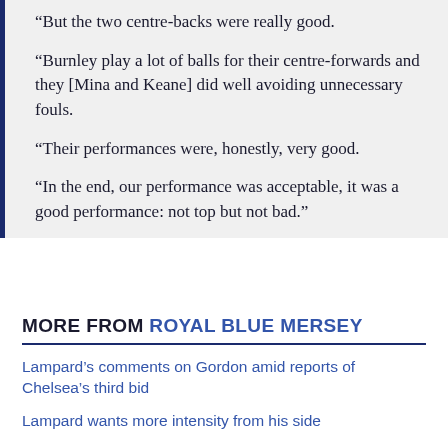“But the two centre-backs were really good.

“Burnley play a lot of balls for their centre-forwards and they [Mina and Keane] did well avoiding unnecessary fouls.

“Their performances were, honestly, very good.

“In the end, our performance was acceptable, it was a good performance: not top but not bad.”
MORE FROM ROYAL BLUE MERSEY
Lampard’s comments on Gordon amid reports of Chelsea’s third bid
Lampard wants more intensity from his side
Everton 1-0 Fleetwood: Final | Gray goal enough to seal Carabao Cup passage